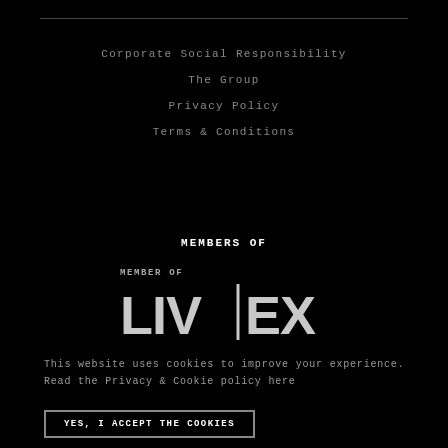Corporate Social Responsibility
The Group
Privacy Policy
Terms & Conditions
MEMBERS OF
[Figure (logo): MEMBER OF LIV|EX logo in white on black background]
This website uses cookies to improve your experience. Read the Privacy & Cookie policy here
YES, I ACCEPT THE COOKIES